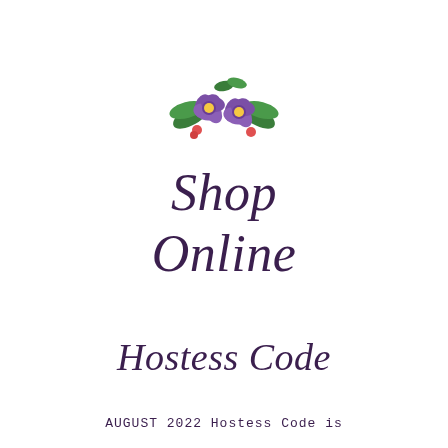[Figure (illustration): Watercolor floral illustration showing two purple flowers with yellow centers, green leaves, and small red accent flowers]
Shop Online
Hostess Code
AUGUST 2022 Hostess Code is